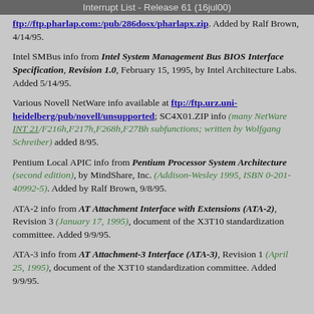Interrupt List - Release 61 (16jul00)
ftp://ftp.pharlap.com:/pub/286dosx/pharlapx.zip. Added by Ralf Brown, 4/14/95.
Intel SMBus info from Intel System Management Bus BIOS Interface Specification, Revision 1.0, February 15, 1995, by Intel Architecture Labs. Added 5/14/95.
Various Novell NetWare info available at ftp://ftp.urz.uni-heidelberg/pub/novell/unsupported; SC4X01.ZIP info (many NetWare INT 21/F216h,F217h,F268h,F27Bh subfunctions; written by Wolfgang Schreiber) added 8/95.
Pentium Local APIC info from Pentium Processor System Architecture (second edition), by MindShare, Inc. (Addison-Wesley 1995, ISBN 0-201-40992-5). Added by Ralf Brown, 9/8/95.
ATA-2 info from AT Attachment Interface with Extensions (ATA-2), Revision 3 (January 17, 1995), document of the X3T10 standardization committee. Added 9/9/95.
ATA-3 info from AT Attachment-3 Interface (ATA-3), Revision 1 (April 25, 1995), document of the X3T10 standardization committee. Added 9/9/95.